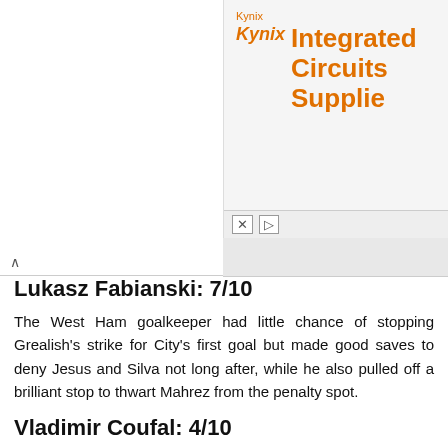[Figure (other): Kynix Integrated Circuits Supplier advertisement banner in top right area]
Lukasz Fabianski: 7/10
The West Ham goalkeeper had little chance of stopping Grealish's strike for City's first goal but made good saves to deny Jesus and Silva not long after, while he also pulled off a brilliant stop to thwart Mahrez from the penalty spot.
Vladimir Coufal: 4/10
[Figure (screenshot): Tweet from @SuperSportTV: VLADIMIR COUFAL SCORES AN OWN GOAL TO MAKE IT 2-2 WITH 20 MINUTES TO PLAY!]